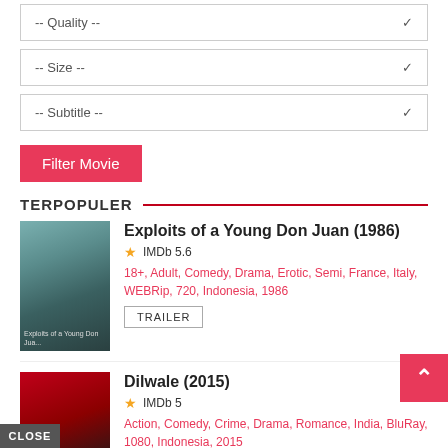-- Quality --
-- Size --
-- Subtitle --
Filter Movie
TERPOPULER
Exploits of a Young Don Juan (1986)
IMDb 5.6
18+, Adult, Comedy, Drama, Erotic, Semi, France, Italy, WEBRip, 720, Indonesia, 1986
TRAILER
Dilwale (2015)
IMDb 5
Action, Comedy, Crime, Drama, Romance, India, BluRay, 1080, Indonesia, 2015
TRAILER